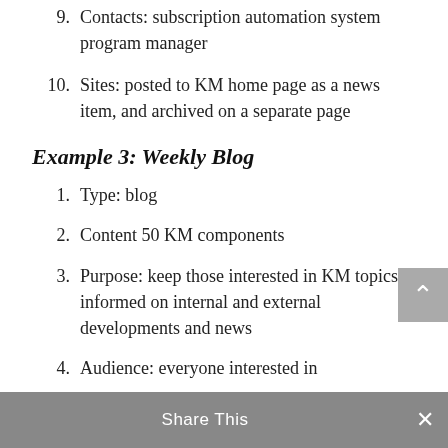9. Contacts: subscription automation system program manager
10. Sites: posted to KM home page as a news item, and archived on a separate page
Example 3: Weekly Blog
1. Type: blog
2. Content 50 KM components
3. Purpose: keep those interested in KM topics informed on internal and external developments and news
4. Audience: everyone interested in
Share This